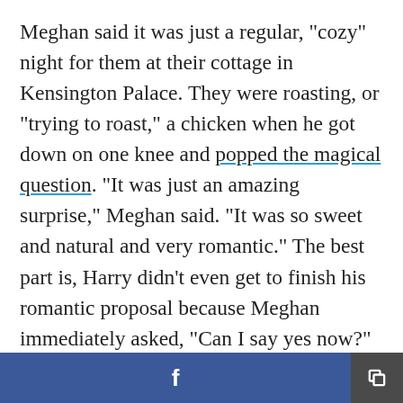Meghan said it was just a regular, "cozy" night for them at their cottage in Kensington Palace. They were roasting, or "trying to roast," a chicken when he got down on one knee and popped the magical question. "It was just an amazing surprise," Meghan said. "It was so sweet and natural and very romantic." The best part is, Harry didn't even get to finish his romantic proposal because Meghan immediately asked, "Can I say yes now?"
Harry added, "Then there was hugs and I had the ring in my finger and I was like, 'Can I give you the ring?' and she goes, 'Oh, yes, the ring!'" Yep, that
[Figure (other): Footer bar with Facebook share button (blue, with 'f' logo) and a general share button (dark grey, with share icon)]